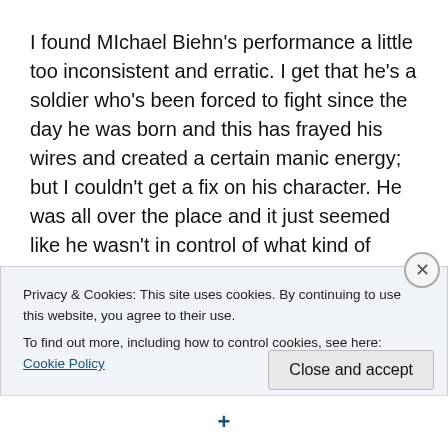I found MIchael Biehn's performance a little too inconsistent and erratic. I get that he's a soldier who's been forced to fight since the day he was born and this has frayed his wires and created a certain manic energy; but I couldn't get a fix on his character. He was all over the place and it just seemed like he wasn't in control of what kind of character he wanted Kyle Reese to be.
Speaking of things that are a little inconsistent and erratic – Brad Fiedel's score left much to be desired. I watched this with a friend and more than once we looked at each
Privacy & Cookies: This site uses cookies. By continuing to use this website, you agree to their use.
To find out more, including how to control cookies, see here: Cookie Policy
Close and accept